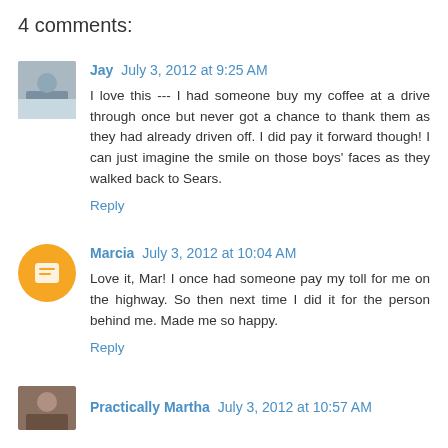4 comments:
Jay  July 3, 2012 at 9:25 AM
I love this --- I had someone buy my coffee at a drive through once but never got a chance to thank them as they had already driven off. I did pay it forward though! I can just imagine the smile on those boys' faces as they walked back to Sears.
Reply
Marcia  July 3, 2012 at 10:04 AM
Love it, Mar! I once had someone pay my toll for me on the highway. So then next time I did it for the person behind me. Made me so happy.
Reply
Practically Martha  July 3, 2012 at 10:57 AM